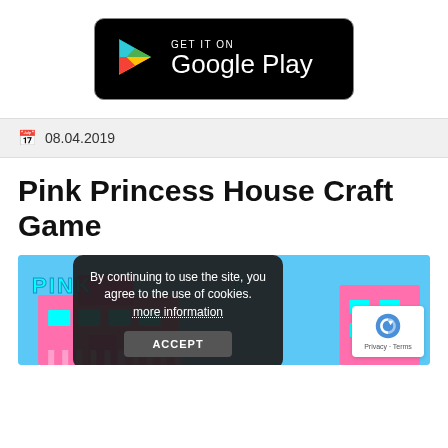[Figure (logo): Google Play Store badge — black rounded rectangle with colorful Play triangle icon and white text 'GET IT ON Google Play']
08.04.2019
Pink Princess House Craft Game
[Figure (screenshot): Screenshot of Pink Princess House Craft Game app with a cookie consent overlay popup reading 'By continuing to use the site, you agree to the use of cookies. more information' and an ACCEPT button. A reCAPTCHA badge is in the bottom right corner.]